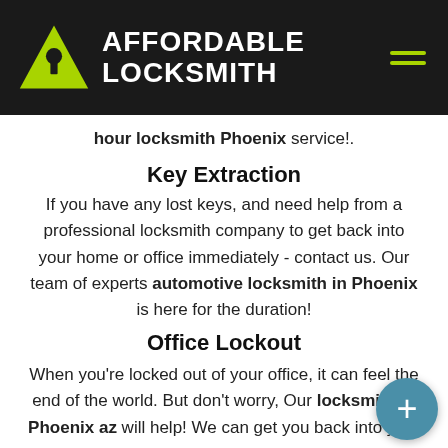AFFORDABLE LOCKSMITH
hour locksmith Phoenix service!.
Key Extraction
If you have any lost keys, and need help from a professional locksmith company to get back into your home or office immediately - contact us. Our team of experts automotive locksmith in Phoenix is here for the duration!
Office Lockout
When you’re locked out of your office, it can feel the end of the world. But don’t worry, Our locksmith in Phoenix az will help! We can get you back into your